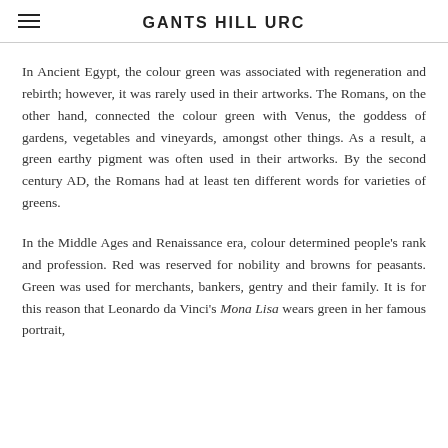GANTS HILL URC
In Ancient Egypt, the colour green was associated with regeneration and rebirth; however, it was rarely used in their artworks. The Romans, on the other hand, connected the colour green with Venus, the goddess of gardens, vegetables and vineyards, amongst other things. As a result, a green earthy pigment was often used in their artworks. By the second century AD, the Romans had at least ten different words for varieties of greens.
In the Middle Ages and Renaissance era, colour determined people's rank and profession. Red was reserved for nobility and browns for peasants. Green was used for merchants, bankers, gentry and their family. It is for this reason that Leonardo da Vinci's Mona Lisa wears green in her famous portrait,